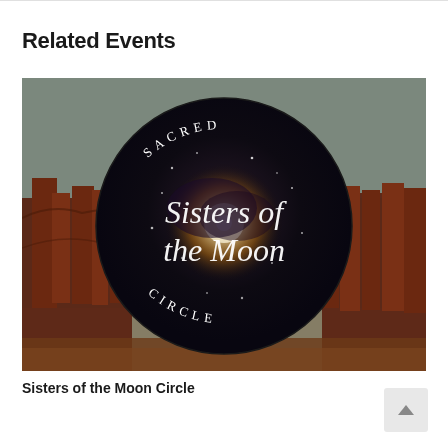Related Events
[Figure (illustration): Circular logo on a dark background with autumn trees. The circle has a black/dark starry interior with text reading 'SACRED' at the top arc, 'Sisters of the Moon' in large cursive script in the center, and 'CIRCLE' at the bottom arc. A bright light glows in the center of the circle. The background shows red/orange autumn trees with a muted sky.]
Sisters of the Moon Circle